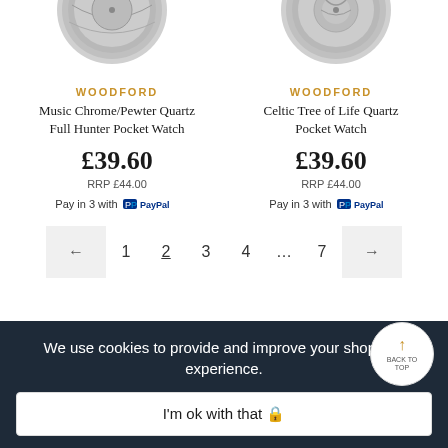[Figure (photo): Partial view of two silver pocket watches at the top of the page]
WOODFORD
Music Chrome/Pewter Quartz Full Hunter Pocket Watch
£39.60
RRP £44.00
Pay in 3 with PayPal
WOODFORD
Celtic Tree of Life Quartz Pocket Watch
£39.60
RRP £44.00
Pay in 3 with PayPal
← 1 2 3 4 … 7 →
We use cookies to provide and improve your shopping experience.
I'm ok with that 🔒